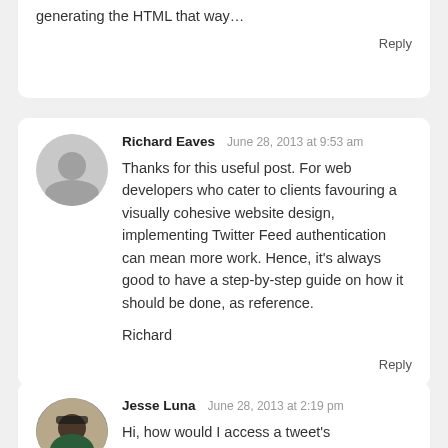generating the HTML that way...
Reply
Richard Eaves   June 28, 2013 at 9:53 am
Thanks for this useful post. For web developers who cater to clients favouring a visually cohesive website design, implementing Twitter Feed authentication can mean more work. Hence, it’s always good to have a step-by-step guide on how it should be done, as reference.

Richard
Reply
Jesse Luna   June 28, 2013 at 2:19 pm
Hi, how would I access a tweet’s